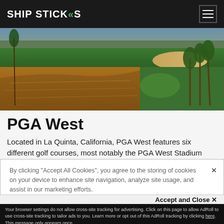SHIP STICKS
[Figure (photo): Aerial view of PGA West golf course with green fairways reflected in a water hazard, palm trees in background, golden hour lighting]
PGA West
Located in La Quinta, California, PGA West features six different golf courses, most notably the PGA West Stadium Course. The course is known for producing some
By clicking "Accept All Cookies", you agree to the storing of cookies on your device to enhance site navigation, analyze site usage, and assist in our marketing efforts.
Accept and Close ✕
Your browser settings do not allow cross-site tracking for advertising. Click on this page to allow AdRoll to use cross-site tracking to tailor ads to you. Learn more or opt out of this AdRoll tracking by clicking here. This message only appears once.